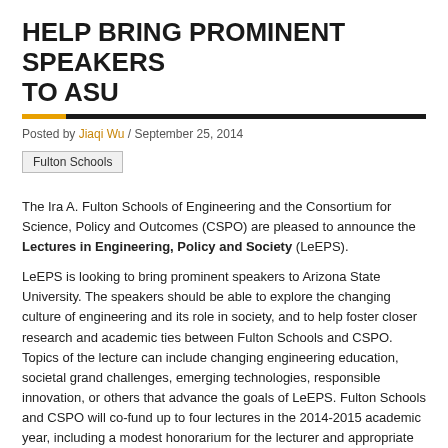HELP BRING PROMINENT SPEAKERS TO ASU
Posted by Jiaqi Wu / September 25, 2014
Fulton Schools
The Ira A. Fulton Schools of Engineering and the Consortium for Science, Policy and Outcomes (CSPO) are pleased to announce the Lectures in Engineering, Policy and Society (LeEPS).
LeEPS is looking to bring prominent speakers to Arizona State University. The speakers should be able to explore the changing culture of engineering and its role in society, and to help foster closer research and academic ties between Fulton Schools and CSPO. Topics of the lecture can include changing engineering education, societal grand challenges, emerging technologies, responsible innovation, or others that advance the goals of LeEPS. Fulton Schools and CSPO will co-fund up to four lectures in the 2014-2015 academic year, including a modest honorarium for the lecturer and appropriate and allowable travel and meals/reception etc, in the range of $2,500.